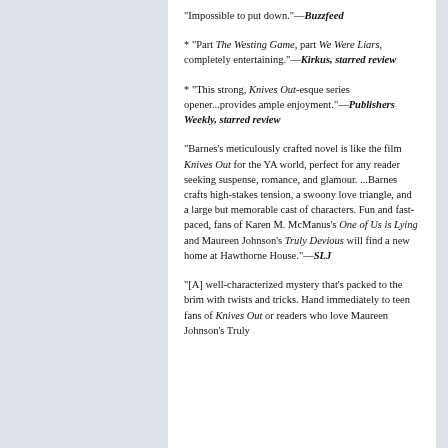"Impossible to put down."—Buzzfeed
* "Part The Westing Game, part We Were Liars, completely entertaining."—Kirkus, starred review
* "This strong, Knives Out-esque series opener...provides ample enjoyment."—Publishers Weekly, starred review
"Barnes's meticulously crafted novel is like the film Knives Out for the YA world, perfect for any reader seeking suspense, romance, and glamour. ...Barnes crafts high-stakes tension, a swoony love triangle, and a large but memorable cast of characters. Fun and fast-paced, fans of Karen M. McManus's One of Us is Lying and Maureen Johnson's Truly Devious will find a new home at Hawthorne House."—SLJ
"[A] well-characterized mystery that's packed to the brim with twists and tricks. Hand immediately to teen fans of Knives Out or readers who love Maureen Johnson's Truly